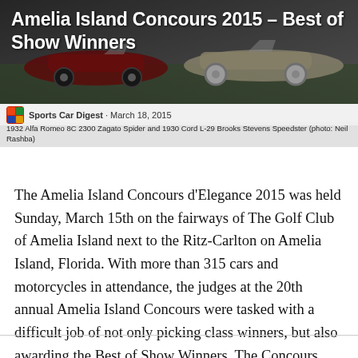[Figure (photo): Header photograph showing two vintage classic cars — a red 1932 Alfa Romeo 8C 2300 Zagato Spider and a 1930 Cord L-29 Brooks Stevens Speedster — on a green lawn at the Amelia Island Concours 2015. Title text overlaid: 'Amelia Island Concours 2015 – Best of Show Winners'.]
Sports Car Digest · March 18, 2015
1932 Alfa Romeo 8C 2300 Zagato Spider and 1930 Cord L-29 Brooks Stevens Speedster (photo: Neil Rashba)
The Amelia Island Concours d'Elegance 2015 was held Sunday, March 15th on the fairways of The Golf Club of Amelia Island next to the Ritz-Carlton on Amelia Island, Florida. With more than 315 cars and motorcycles in attendance, the judges at the 20th annual Amelia Island Concours were tasked with a difficult job of not only picking class winners, but also awarding the Best of Show Winners. The Concours awards Best of Show for two designations — Concours d'Elegance and Concours de Sport.